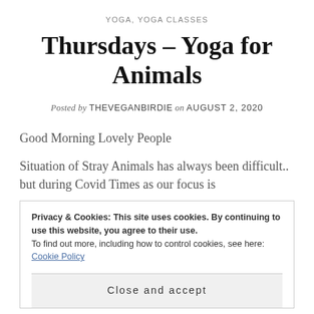YOGA, YOGA CLASSES
Thursdays – Yoga for Animals
Posted by THEVEGANBIRDIE on AUGUST 2, 2020
Good Morning Lovely People
Situation of Stray Animals has always been difficult.. but during Covid Times as our focus is
Privacy & Cookies: This site uses cookies. By continuing to use this website, you agree to their use.
To find out more, including how to control cookies, see here: Cookie Policy
Close and accept
Harmony with environment and other animal